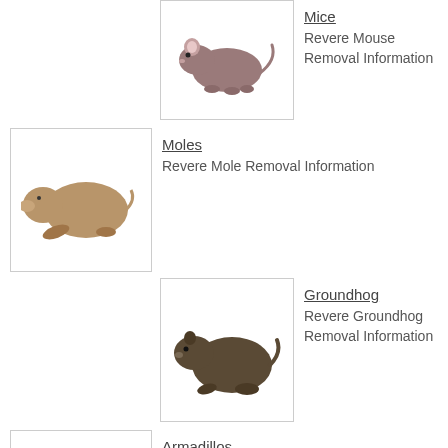Mice — Revere Mouse Removal Information
Moles — Revere Mole Removal Information
Groundhog — Revere Groundhog Removal Information
Armadillos — Revere Armadillo Removal Information
Beaver — Revere Beaver Removal Information
Fox — Revere Fox Removal Information
Coyotes